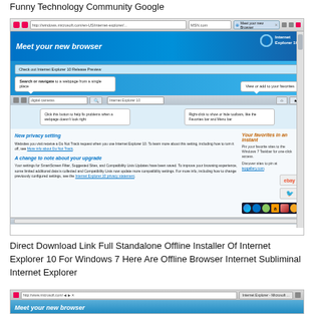Funny Technology Community Google
[Figure (screenshot): Screenshot of Internet Explorer 10 'Meet your new browser' welcome page showing browser features including new privacy setting, favorites bar, and compatibility view callouts.]
Direct Download Link Full Standalone Offline Installer Of Internet Explorer 10 For Windows 7 Here Are Offline Browser Internet Subliminal Internet Explorer
[Figure (screenshot): Partial screenshot of another Internet Explorer browser window, cropped at the bottom of the page.]